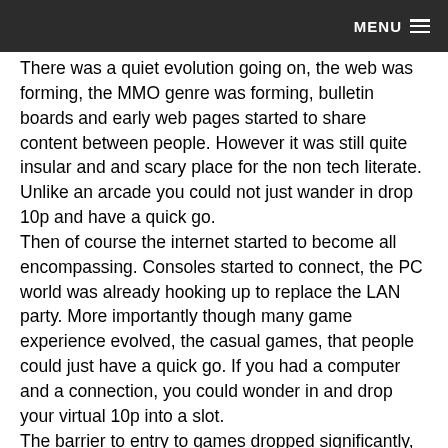MENU
There was a quiet evolution going on, the web was forming, the MMO genre was forming, bulletin boards and early web pages started to share content between people. However it was still quite insular and and scary place for the non tech literate. Unlike an arcade you could not just wander in drop 10p and have a quick go.
Then of course the internet started to become all encompassing. Consoles started to connect, the PC world was already hooking up to replace the LAN party. More importantly though many game experience evolved, the casual games, that people could just have a quick go. If you had a computer and a connection, you could wonder in and drop your virtual 10p into a slot.
The barrier to entry to games dropped significantly, which also increased the acceptance.
More importantly though the web and social media have